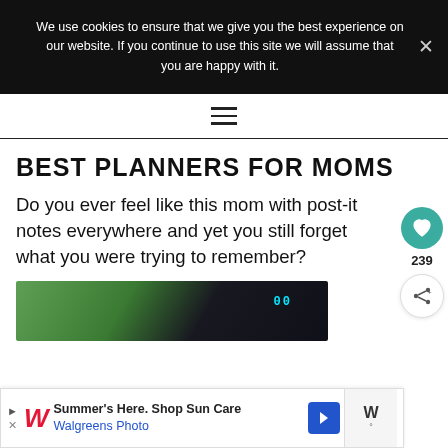We use cookies to ensure that we give you the best experience on our website. If you continue to use this site we will assume that you are happy with it.
Navigation menu
BEST PLANNERS FOR MOMS
Do you ever feel like this mom with post-it notes everywhere and yet you still forget what you were trying to remember?
[Figure (photo): Partial photo of a car dashboard with green/dark tones and a digital display showing '00']
[Figure (screenshot): Advertisement banner: Walgreens Photo - Summer's Here. Shop Sun Care]